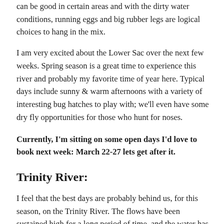can be good in certain areas and with the dirty water conditions, running eggs and big rubber legs are logical choices to hang in the mix.
I am very excited about the Lower Sac over the next few weeks. Spring season is a great time to experience this river and probably my favorite time of year here. Typical days include sunny & warm afternoons with a variety of interesting bug hatches to play with; we'll even have some dry fly opportunities for those who hunt for noses.
Currently, I'm sitting on some open days I'd love to book next week: March 22-27 lets get after it.
Trinity River:
I feel that the best days are probably behind us, for this season, on the Trinity River. The flows have been sustained high for a long period of time, and the water has been fairly turbid in all sections. The wild fish that are in the system are most likely up in the tribs